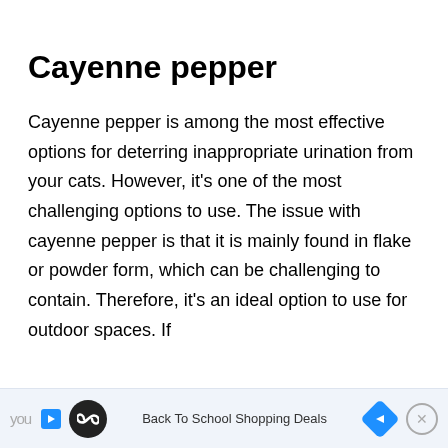Cayenne pepper
Cayenne pepper is among the most effective options for deterring inappropriate urination from your cats. However, it’s one of the most challenging options to use. The issue with cayenne pepper is that it is mainly found in flake or powder form, which can be challenging to contain. Therefore, it’s an ideal option to use for outdoor spaces. If
[Figure (other): Advertisement bar at bottom of page showing YouTube/streaming app logo, infinity symbol icon, 'Back To School Shopping Deals' text, navigation arrow icon, and close button]